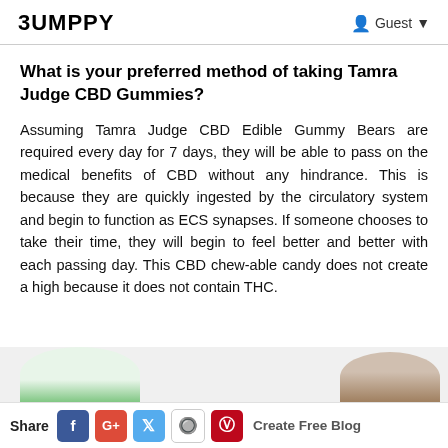BUMPPY  Guest
What is your preferred method of taking Tamra Judge CBD Gummies?
Assuming Tamra Judge CBD Edible Gummy Bears are required every day for 7 days, they will be able to pass on the medical benefits of CBD without any hindrance. This is because they are quickly ingested by the circulatory system and begin to function as ECS synapses. If someone chooses to take their time, they will begin to feel better and better with each passing day. This CBD chew-able candy does not create a high because it does not contain THC.
[Figure (photo): Partial view of two images at bottom of page, showing green circular shape on left and a person on right]
Share  f  G+  t  reddit  p  Create Free Blog